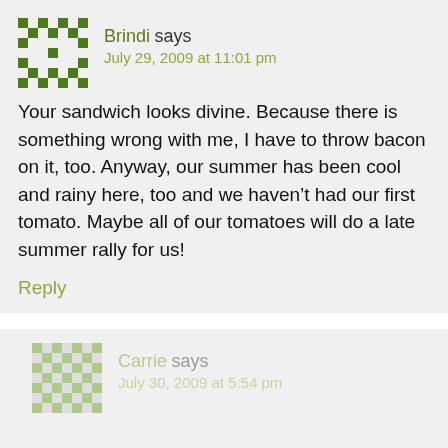[Figure (illustration): Green and white pixel/quilt pattern avatar for user Brindi]
Brindi says
July 29, 2009 at 11:01 pm
Your sandwich looks divine. Because there is something wrong with me, I have to throw bacon on it, too. Anyway, our summer has been cool and rainy here, too and we haven’t had our first tomato. Maybe all of our tomatoes will do a late summer rally for us!
Reply
[Figure (illustration): Faded green and white pixel/quilt pattern avatar for user Carrie]
Carrie says
July 30, 2009 at 5:54 pm